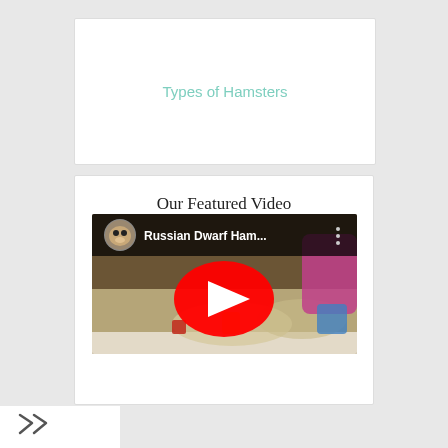Types of Hamsters
Our Featured Video
[Figure (screenshot): YouTube video thumbnail showing Russian Dwarf Hamsters with a red play button in the center and the title 'Russian Dwarf Ham...' in the top bar]
[Figure (other): Share icon (double forward arrow)]